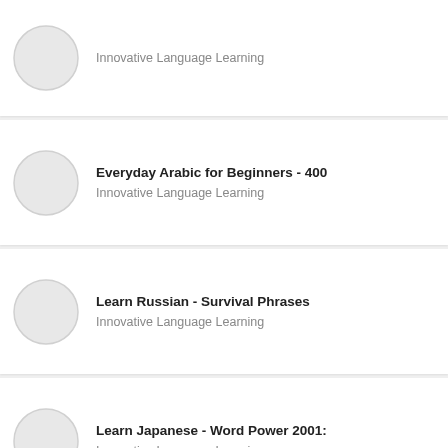Innovative Language Learning
Everyday Arabic for Beginners - 400
Innovative Language Learning
Learn Russian - Survival Phrases
Innovative Language Learning
Learn Japanese - Word Power 2001:
Innovative Language Learning
Learn Spanish - Level 5: Upper Beginner
Innovative Language Learning